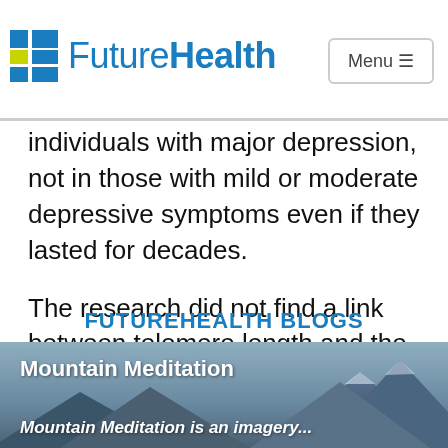FutureHealth — Menu
suggests that depression itself may also play a role in the biological distress it causes and that shorter telomeres were found only in
individuals with major depression, not in those with mild or moderate depressive symptoms even if they lasted for decades.
The research did not find a link between telomere length and the risk of death, and it could not draw conclusions on whether the aging involved is harmful or can be reversed.
FUTUREHEALTH BLOGS
[Figure (photo): Mountain landscape photo with text overlay 'Mountain Meditation' and subtitle 'Mountain Meditation is an imagery...']